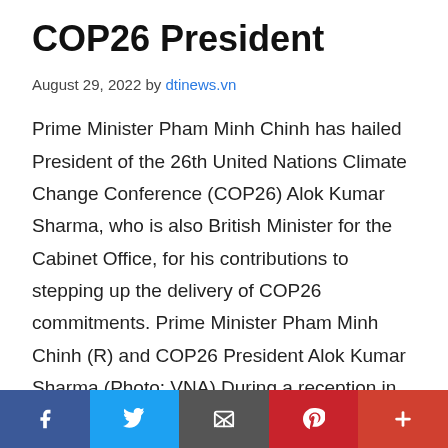COP26 President
August 29, 2022 by dtinews.vn
Prime Minister Pham Minh Chinh has hailed President of the 26th United Nations Climate Change Conference (COP26) Alok Kumar Sharma, who is also British Minister for the Cabinet Office, for his contributions to stepping up the delivery of COP26 commitments. Prime Minister Pham Minh Chinh (R) and COP26 President Alok Kumar Sharma (Photo: VNA) During a reception in Hanoi on August 29, Chinh said following COP26, Vietnam has actively worked to fulfil its commitments. The Vietnamese Government has established the
f | twitter | email | pinterest | +